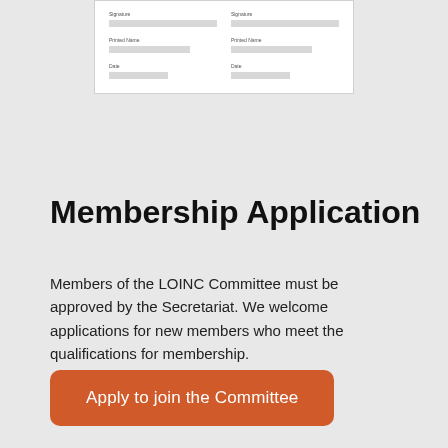[Figure (screenshot): Partial view of a form with Signature, Printed Name, and Date fields in two columns]
Membership Application
Members of the LOINC Committee must be approved by the Secretariat. We welcome applications for new members who meet the qualifications for membership.
Apply to join the Committee